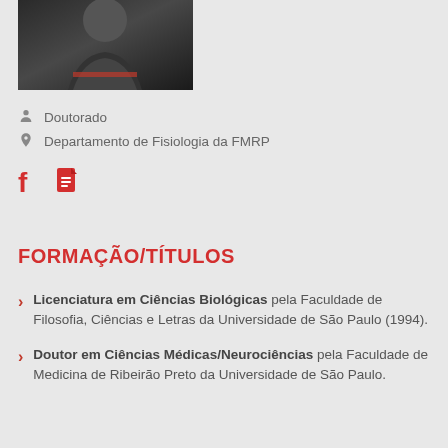[Figure (photo): Person wearing black academic graduation robe with red accent, partial view cropped at top]
Doutorado
Departamento de Fisiologia da FMRP
[Figure (other): Social media icons: Facebook (f) and Google Docs document icon, both in red]
FORMAÇÃO/TÍTULOS
Licenciatura em Ciências Biológicas pela Faculdade de Filosofia, Ciências e Letras da Universidade de São Paulo (1994).
Doutor em Ciências Médicas/Neurociências pela Faculdade de Medicina de Ribeirão Preto da Universidade de São Paulo.